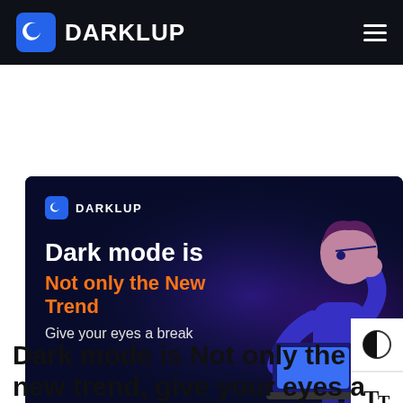DARKLUP
[Figure (illustration): Dark mode promotional banner with a person holding a laptop. Banner contains DARKLUP logo, text 'Dark mode is / Not only the New Trend / Give your eyes a break', and side UI controls showing a contrast icon and Tt typography icon.]
Dark mode is Not only the new trend, give your eyes a